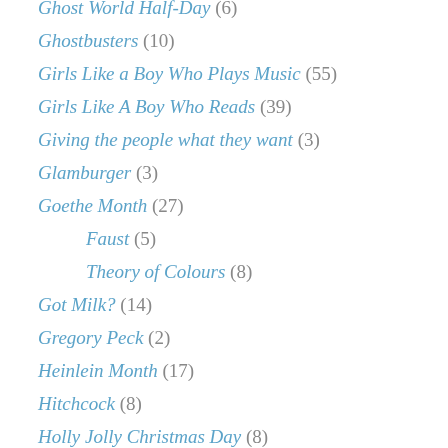Ghost World Half-Day (6)
Ghostbusters (10)
Girls Like a Boy Who Plays Music (55)
Girls Like A Boy Who Reads (39)
Giving the people what they want (3)
Glamburger (3)
Goethe Month (27)
Faust (5)
Theory of Colours (8)
Got Milk? (14)
Gregory Peck (2)
Heinlein Month (17)
Hitchcock (8)
Holly Jolly Christmas Day (8)
Hot Man Bein' Hot of the Day (21)
Hunter Thompson (11)
i dream of jeannie (4)
I left my heart in [ … ] (20)
I want to ride my … (7)
Inspiration Station (27)